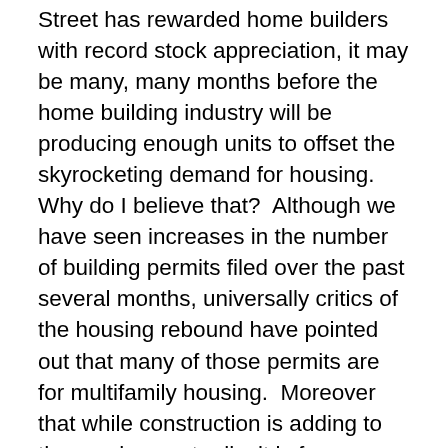Street has rewarded home builders with record stock appreciation, it may be many, many months before the home building industry will be producing enough units to offset the skyrocketing demand for housing. Why do I believe that?  Although we have seen increases in the number of building permits filed over the past several months, universally critics of the housing rebound have pointed out that many of those permits are for multifamily housing.  Moreover that while construction is adding to the employment rolls, it is far more measured than a full blown recovery would suggest it should be.  Why?  Pipeline.  Because of the lag between preparation and delivery in the construction industry, the somewhat uninspired permit and employment numbers suggest the building industry was unprepared for the now vibrant housing recovery.  That's not to say Wall Street investors were wrong to reward building stocks as they have.  Perhaps their